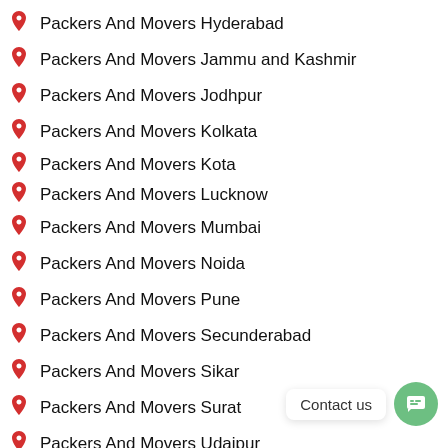Packers And Movers Hyderabad
Packers And Movers Jammu and Kashmir
Packers And Movers Jodhpur
Packers And Movers Kolkata
Packers And Movers Kota
Packers And Movers Lucknow
Packers And Movers Mumbai
Packers And Movers Noida
Packers And Movers Pune
Packers And Movers Secunderabad
Packers And Movers Sikar
Packers And Movers Surat
Packers And Movers Udaipur